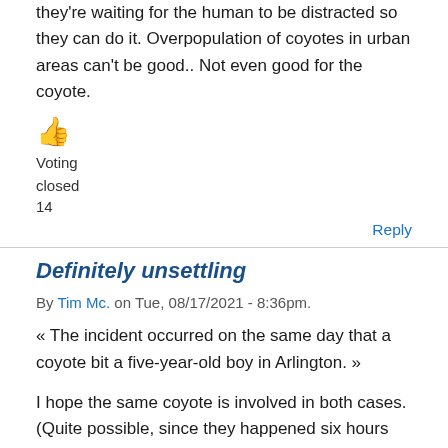they're waiting for the human to be distracted so they can do it. Overpopulation of coyotes in urban areas can't be good.. Not even good for the coyote.
👍
Voting
closed
14
Reply
Definitely unsettling
By Tim Mc. on Tue, 08/17/2021 - 8:36pm.
« The incident occurred on the same day that a coyote bit a five-year-old boy in Arlington. »
I hope the same coyote is involved in both cases. (Quite possible, since they happened six hours apart.) Otherwise, I don't know what would prompt this level of boldness.
It's...